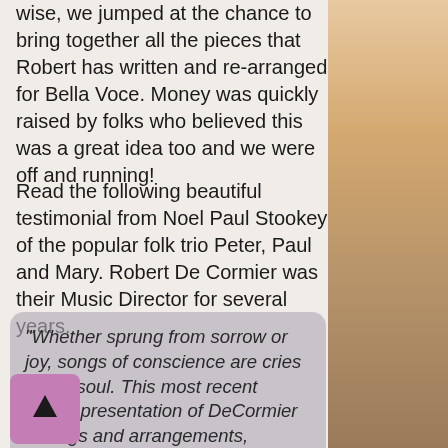wise, we jumped at the chance to bring together all the pieces that Robert has written and re-arranged for Bella Voce. Money was quickly raised by folks who believed this was a great idea too and we were off and running!
Read the following beautiful testimonial from Noel Paul Stookey of the popular folk trio Peter, Paul and Mary. Robert De Cormier was their Music Director for several years.
"Whether sprung from sorrow or joy, songs of conscience are cries of the soul. This most recent choral presentation of DeCormier writings and arrangements, addressing the significant social impact of et Tubman's life, is an exceptional ple of passion - inexpressible by words alone - translated movingly intoe